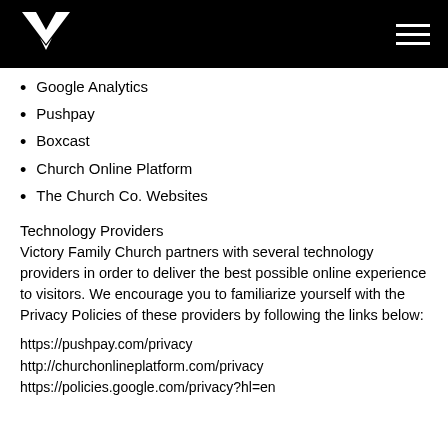[Figure (logo): Victory Family Church logo — white angular V/F mark on black background]
Google Analytics
Pushpay
Boxcast
Church Online Platform
The Church Co. Websites
Technology Providers
Victory Family Church partners with several technology providers in order to deliver the best possible online experience to visitors. We encourage you to familiarize yourself with the Privacy Policies of these providers by following the links below:
https://pushpay.com/privacy
http://churchonlineplatform.com/privacy
https://policies.google.com/privacy?hl=en